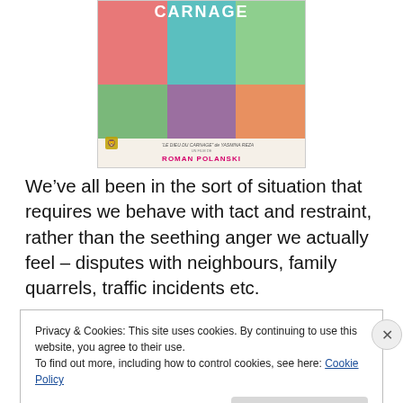[Figure (photo): Movie poster for 'Carnage' directed by Roman Polanski, based on 'Le Dieu du Carnage' by Yasmina Reza. Six colorful portrait panels in a 3x2 grid with different colored backgrounds (pink, teal, green for top row; green, purple, orange for bottom row). Title 'CARNAGE' at top in white letters.]
We've all been in the sort of situation that requires we behave with tact and restraint, rather than the seething anger we actually feel – disputes with neighbours, family quarrels, traffic incidents etc.
Privacy & Cookies: This site uses cookies. By continuing to use this website, you agree to their use.
To find out more, including how to control cookies, see here: Cookie Policy
Close and accept